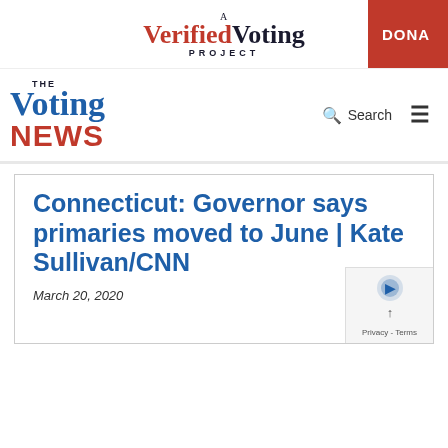A Verified Voting Project
[Figure (logo): The Voting News logo with search and hamburger menu]
Connecticut: Governor says primaries moved to June | Kate Sullivan/CNN
March 20, 2020